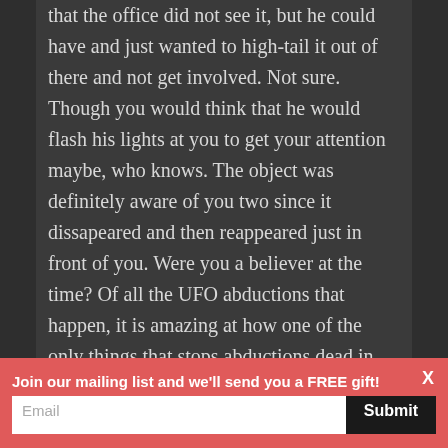that the office did not see it, but he could have and just wanted to high-tail it out of there and not get involved. Not sure. Though you would think that he would flash his lights at you to get your attention maybe, who knows. The object was definitely aware of you two since it dissapeared and then reappeared just in front of you. Were you a believer at the time? Of all the UFO abductions that happen, it is amazing at how one of the only things that stops abductions dead in their tracks is if the abductee calls upon Jesus for help. In the midst of
Join our mailing list and we'll send you a FREE gift!